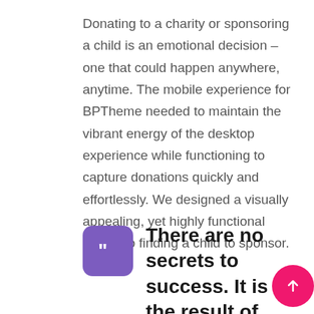Donating to a charity or sponsoring a child is an emotional decision – one that could happen anywhere, anytime. The mobile experience for BPTheme needed to maintain the vibrant energy of the desktop experience while functioning to capture donations quickly and effortlessly. We designed a visually appealing, yet highly functional format to finding a child to sponsor.
There are no secrets to success. It is the result of
[Figure (illustration): Purple rounded square icon with white double quotation marks]